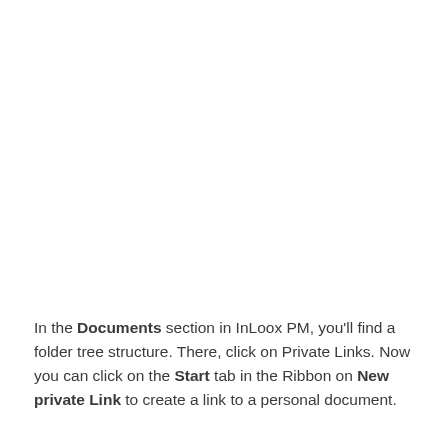In the Documents section in InLoox PM, you'll find a folder tree structure. There, click on Private Links. Now you can click on the Start tab in the Ribbon on New private Link to create a link to a personal document.